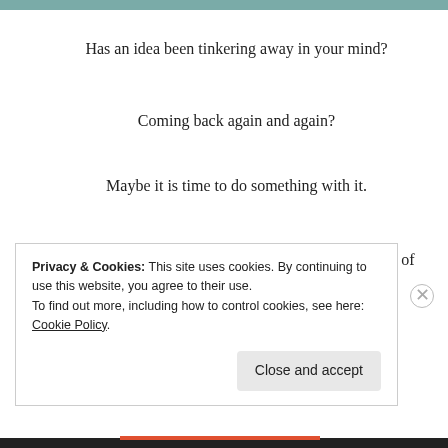Has an idea been tinkering away in your mind?
Coming back again and again?
Maybe it is time to do something with it.
The Angels want to remind you that that bright spark of an idea, is not there by coincidence. They didn't give it to you, to do nothing with it.
Privacy & Cookies: This site uses cookies. By continuing to use this website, you agree to their use. To find out more, including how to control cookies, see here: Cookie Policy.
Close and accept